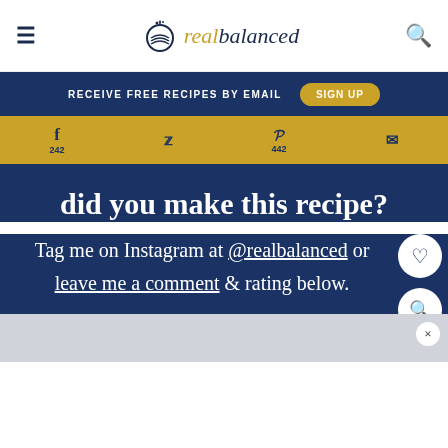real balanced
RECEIVE FREE RECIPES BY EMAIL  SIGN UP
f 242   twitter   p 442   email
did you make this recipe?
Tag me on Instagram at @realbalanced or leave me a comment & rating below.